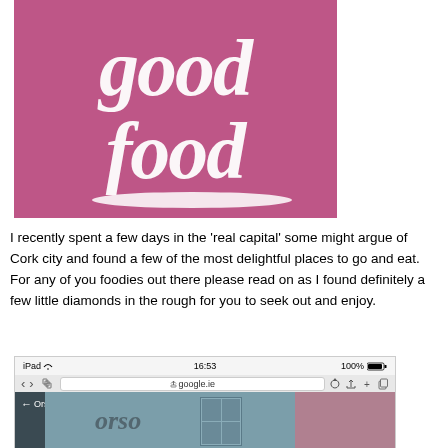[Figure (photo): Pink/magenta background with white brush-script text reading 'good food' with a white brushstroke underline]
I recently spent a few days in the 'real capital' some might argue of Cork city and found a few of the most delightful places to go and eat. For any of you foodies out there please read on as I found definitely a few little diamonds in the rough for you to seek out and enjoy.
[Figure (screenshot): Screenshot of an iPad browser showing google.ie with a photo of a restaurant called 'Orso' — showing a sign with the word Orso on a teal/blue-grey wall]